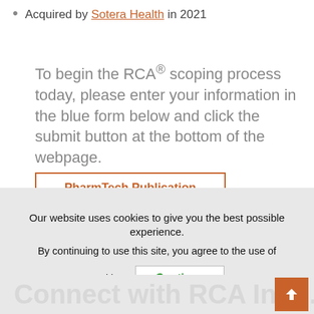Acquired by Sotera Health in 2021
To begin the RCA® scoping process today, please enter your information in the blue form below and click the submit button at the bottom of the webpage.
PharmTech Publication
Our website uses cookies to give you the best possible experience.

By continuing to use this site, you agree to the use of cookies.
Continue